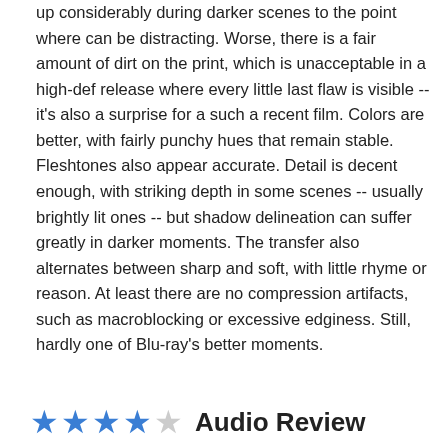up considerably during darker scenes to the point where can be distracting. Worse, there is a fair amount of dirt on the print, which is unacceptable in a high-def release where every little last flaw is visible -- it's also a surprise for a such a recent film. Colors are better, with fairly punchy hues that remain stable. Fleshtones also appear accurate. Detail is decent enough, with striking depth in some scenes -- usually brightly lit ones -- but shadow delineation can suffer greatly in darker moments. The transfer also alternates between sharp and soft, with little rhyme or reason. At least there are no compression artifacts, such as macroblocking or excessive edginess. Still, hardly one of Blu-ray's better moments.
★★★★☆ Audio Review